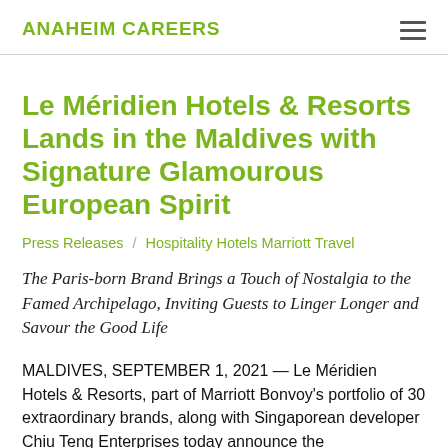ANAHEIM CAREERS
Le Méridien Hotels & Resorts Lands in the Maldives with Signature Glamourous European Spirit
Press Releases / Hospitality Hotels Marriott Travel
The Paris-born Brand Brings a Touch of Nostalgia to the Famed Archipelago, Inviting Guests to Linger Longer and Savour the Good Life
MALDIVES, SEPTEMBER 1, 2021 — Le Méridien Hotels & Resorts, part of Marriott Bonvoy's portfolio of 30 extraordinary brands, along with Singaporean developer Chiu Teng Enterprises today announce the